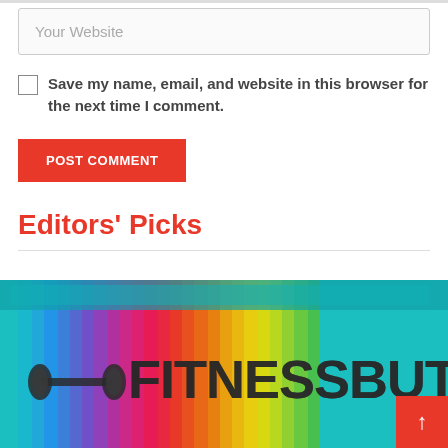Your Website
Save my name, email, and website in this browser for the next time I comment.
POST COMMENT
Editors' Picks
[Figure (photo): Colorful stacked books or folders in rainbow colors with a FitnessButy logo overlay including a dumbbell icon]